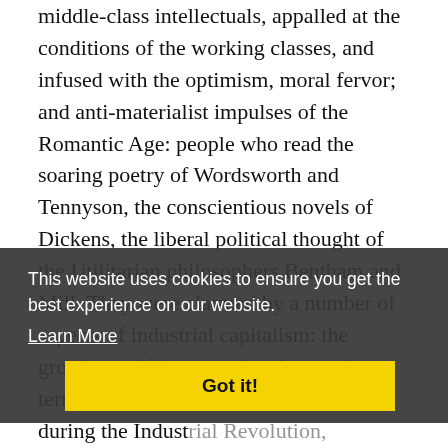middle-class intellectuals, appalled at the conditions of the working classes, and infused with the optimism, moral fervor; and anti-materialist impulses of the Romantic Age: people who read the soaring poetry of Wordsworth and Tennyson, the conscientious novels of Dickens, the liberal political thought of the Utilitarian philosophers Bentham and Mill. They were alarmed by a number of aspects of industrial capitalism: the growing gulf between the classes; the terrible poverty of the working class during the Industrial Revolution, the emphasis on self-interest in classical economics; the terrible poverty of the average factory worker, and the brutal routinization of work, as the factory system replaced the individual crafter...
This website uses cookies to ensure you get the best experience on our website. Learn More Got it!